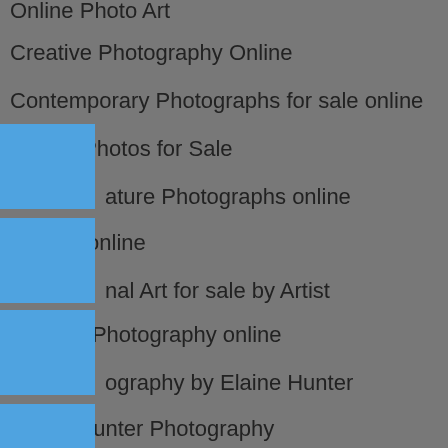Online Photo Art
Creative Photography Online
Contemporary Photographs for sale online
Nature Photos for Sale
Nature Photographs online
Buy Art online
Original Art for sale by Artist
Fine Art Photography online
Photography by Elaine Hunter
Elaine Hunter Photography
Online Contemporary Gallery
Buy Art Photography
Photographic Art
Beautiful Original Nature Photography
Online Photography
Fine Art Nature Photography
Photographic manipulation
Experimental Photographic Art